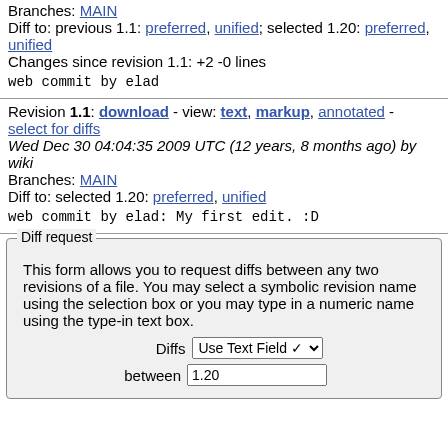Branches: MAIN
Diff to: previous 1.1: preferred, unified; selected 1.20: preferred, unified
Changes since revision 1.1: +2 -0 lines
web commit by elad
Revision 1.1: download - view: text, markup, annotated - select for diffs
Wed Dec 30 04:04:35 2009 UTC (12 years, 8 months ago) by wiki
Branches: MAIN
Diff to: selected 1.20: preferred, unified
web commit by elad: My first edit. :D
Diff request - This form allows you to request diffs between any two revisions of a file. You may select a symbolic revision name using the selection box or you may type in a numeric name using the type-in text box.
Diffs Use Text Field between 1.20